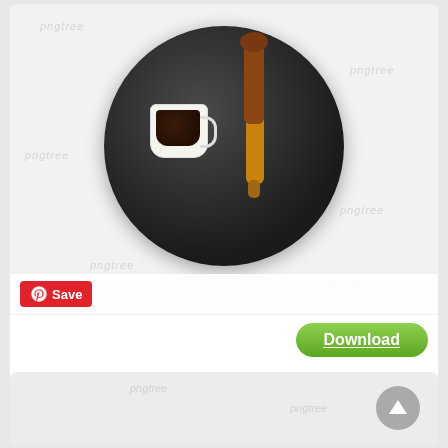[Figure (photo): Top-down view of a black round plate with a small white espresso cup filled with dark liquid (soy sauce or coffee) and a wooden spoon/stirrer resting across the plate, on a light gray background. Watermark text 'pngtree' visible multiple times.]
[Figure (screenshot): Pinterest Save button (red rounded rectangle with Pinterest logo and 'Save' text)]
[Figure (screenshot): Green Download button with white underlined text 'Download']
liquid fresh soy sauce
[Figure (photo): Partial bottom image showing another dark plate/dish on light gray background with pngtree watermark. Scroll-to-top button (gray circle with white up arrow) in bottom right.]